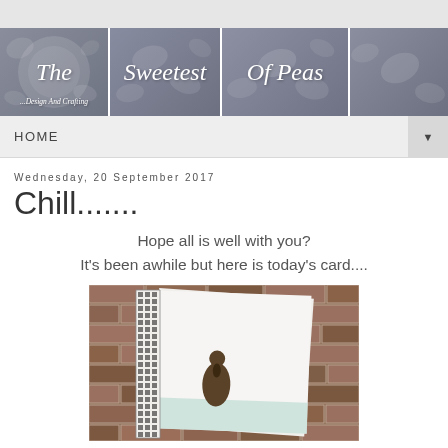[Figure (illustration): Blog header banner showing 'The Sweetest Of Peas - Design And Crafting' split across four image panels with botanical/leaf motif background in gray-blue tones]
HOME
Wednesday, 20 September 2017
Chill.......
Hope all is well with you?
It's been awhile but here is today's card....
[Figure (photo): A handmade card propped against a brick wall. The card features a silhouette of a person in a brown coat standing against a white/light blue watercolor background. A decorative grid/lattice border element is visible on the left side.]